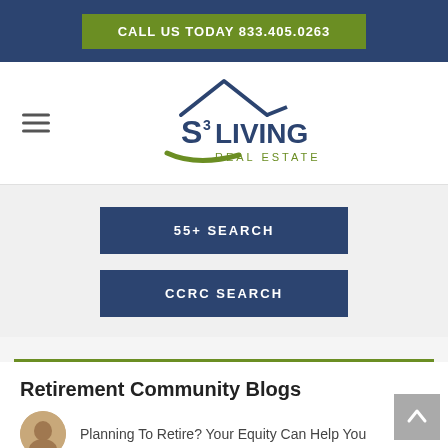CALL US TODAY 833.405.0263
[Figure (logo): S3 Living Real Estate logo with house roof graphic above text]
55+ SEARCH
CCRC SEARCH
Retirement Community Blogs
Planning To Retire? Your Equity Can Help You